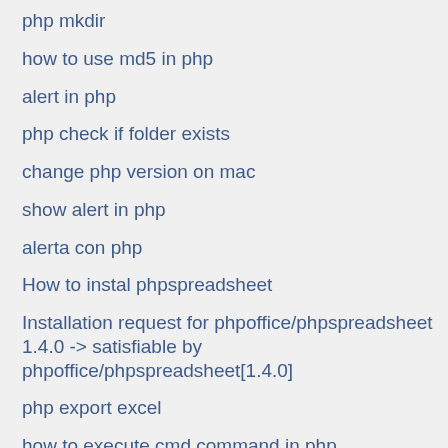php mkdir
how to use md5 in php
alert in php
php check if folder exists
change php version on mac
show alert in php
alerta con php
How to instal phpspreadsheet
Installation request for phpoffice/phpspreadsheet 1.4.0 -> satisfiable by phpoffice/phpspreadsheet[1.4.0]
php export excel
how to execute cmd command in php
php hash password